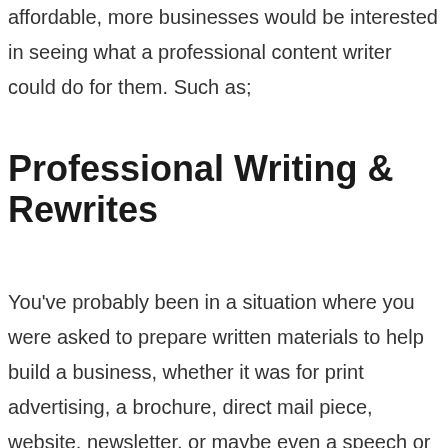affordable, more businesses would be interested in seeing what a professional content writer could do for them. Such as;
Professional Writing & Rewrites
You've probably been in a situation where you were asked to prepare written materials to help build a business, whether it was for print advertising, a brochure, direct mail piece, website, newsletter, or maybe even a speech or presentation.